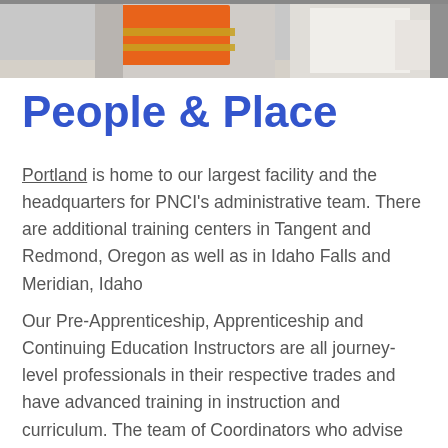[Figure (photo): A person wearing an orange reflective safety vest, photographed from the torso down, with another person in a white shirt visible in the background.]
People & Place
Portland is home to our largest facility and the headquarters for PNCI's administrative team. There are additional training centers in Tangent and Redmond, Oregon as well as in Idaho Falls and Meridian, Idaho
Our Pre-Apprenticeship, Apprenticeship and Continuing Education Instructors are all journey-level professionals in their respective trades and have advanced training in instruction and curriculum. The team of Coordinators who advise apprentices are also successful journey-workers, dedicated to the success of their apprentices